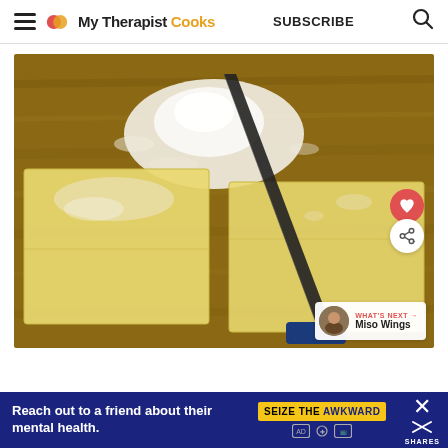My Therapist Cooks — SUBSCRIBE
[Figure (photo): A knife cutting through sheets of fresh pasta dough on a floured wooden cutting board, with a pile of flour visible at the top. The dough is divided into two pieces, one dusted with flour.]
WHAT'S NEXT → Miso Wings
[Figure (other): Advertisement banner: 'Reach out to a friend about their mental health.' with SEIZE THE AWKWARD branding on a dark blue background.]